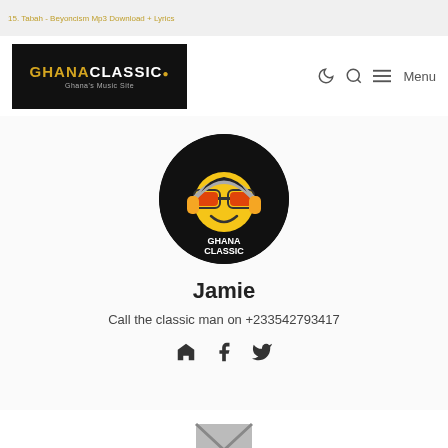15. Tabah - Beyoncism Mp3 Download + Lyrics
[Figure (logo): GhanaClassic.com logo - Ghana's Music Site on black background]
[Figure (photo): GhanaClassic.com circular profile avatar with smiley face wearing headphones and sunglasses]
Jamie
Call the classic man on +233542793417
[Figure (infographic): Social media icons: home, facebook, twitter]
[Figure (infographic): Email envelope icon]
Enter your Email address to Subscribe Get New Updates of Posts by Email